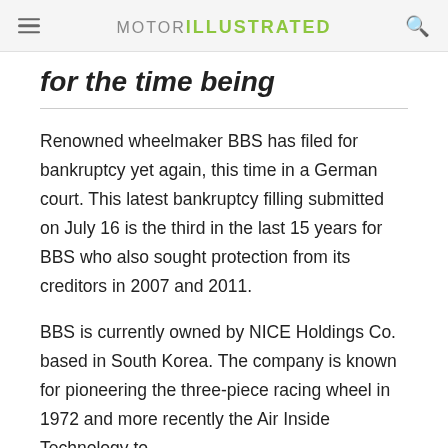MOTOR ILLUSTRATED
for the time being
Renowned wheelmaker BBS has filed for bankruptcy yet again, this time in a German court. This latest bankruptcy filling submitted on July 16 is the third in the last 15 years for BBS who also sought protection from its creditors in 2007 and 2011.
BBS is currently owned by NICE Holdings Co. based in South Korea. The company is known for pioneering the three-piece racing wheel in 1972 and more recently the Air Inside Technology to